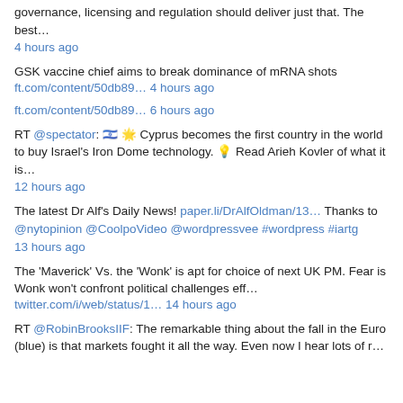governance, licensing and regulation should deliver just that. The best… 4 hours ago
GSK vaccine chief aims to break dominance of mRNA shots
ft.com/content/50db89… 4 hours ago
ft.com/content/50db89… 6 hours ago
RT @spectator: 🇮🇱 🌟 Cyprus becomes the first country in the world to buy Israel's Iron Dome technology. 💡 Read Arieh Kovler of what it is… 12 hours ago
The latest Dr Alf's Daily News! paper.li/DrAlfOldman/13… Thanks to @nytopinion @CoolpoVideo @wordpressvee #wordpress #iartg 13 hours ago
The 'Maverick' Vs. the 'Wonk' is apt for choice of next UK PM. Fear is Wonk won't confront political challenges eff… twitter.com/i/web/status/1… 14 hours ago
RT @RobinBrooksIIF: The remarkable thing about the fall in the Euro (blue) is that markets fought it all the way. Even now I hear lots of r…